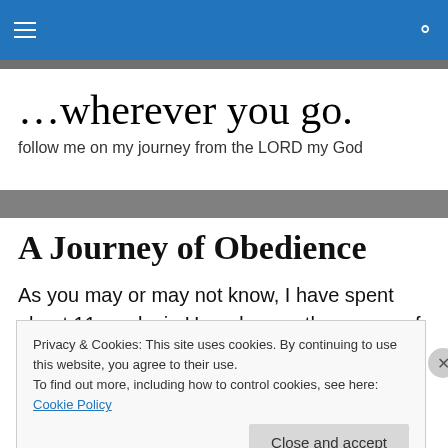Navigation bar with hamburger menu and search icon
…wherever you go.
follow me on my journey from the LORD my God
A Journey of Obedience
As you may or may not know, I have spent about 11 weeks in Uganda over the course of two different
Privacy & Cookies: This site uses cookies. By continuing to use this website, you agree to their use.
To find out more, including how to control cookies, see here: Cookie Policy
Close and accept